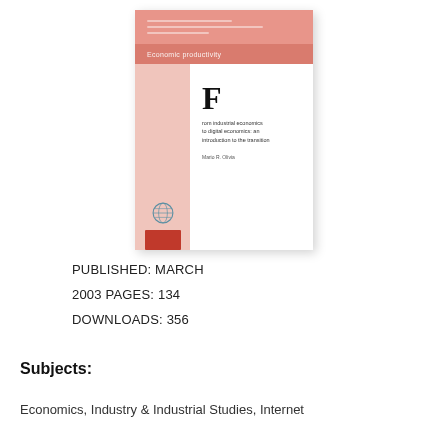[Figure (illustration): Book cover with salmon/pink top banner, left pink strip, and white right panel. Large bold letter F with small title text reading 'From industrial economics to digital economics: an introduction to the transition'. UN logo and red barcode at bottom of left strip.]
PUBLISHED: MARCH
2003 PAGES: 134
DOWNLOADS: 356
Subjects:
Economics, Industry & Industrial Studies, Internet